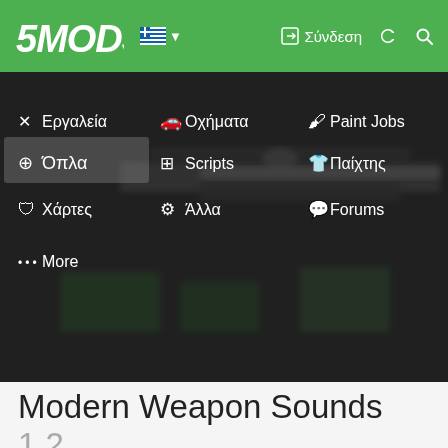5MODS | Σύνδεση
[Figure (screenshot): Navigation dropdown menu on 5mods website showing categories: Εργαλεία, Οχήματα, Paint Jobs, Όπλα (highlighted/active), Scripts, Παίχτης, Χάρτες, Άλλα, Forums, More. Background shows a blurred image of a sniper rifle.]
Modern Weapon Sounds 1.2